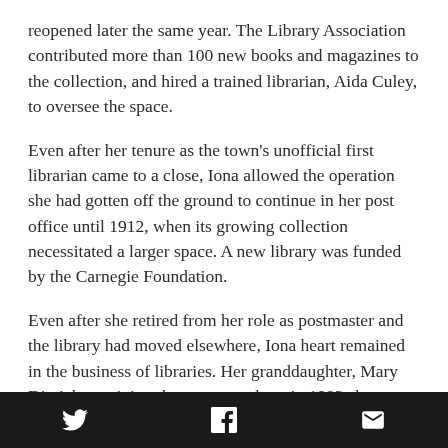reopened later the same year. The Library Association contributed more than 100 new books and magazines to the collection, and hired a trained librarian, Aida Culey, to oversee the space.
Even after her tenure as the town's unofficial first librarian came to a close, Iona allowed the operation she had gotten off the ground to continue in her post office until 1912, when its growing collection necessitated a larger space. A new library was funded by the Carnegie Foundation.
Even after she retired from her role as postmaster and the library had moved elsewhere, Iona heart remained in the business of libraries. Her granddaughter, Mary Dimick, reminisced many years later in 1983 about a similar collection that Iona maintained in her own home after she retired from the post office. “In
[Twitter] [Facebook] [Mail]